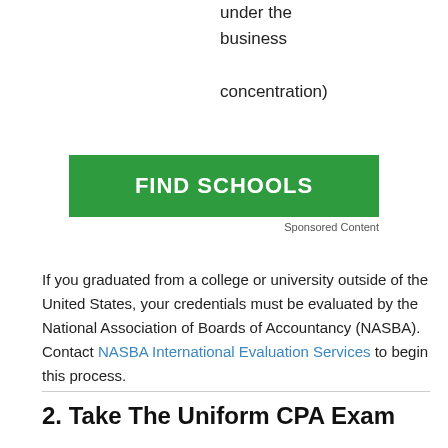under the business concentration)
[Figure (other): Green button labeled FIND SCHOOLS with Sponsored Content text below]
Sponsored Content
If you graduated from a college or university outside of the United States, your credentials must be evaluated by the National Association of Boards of Accountancy (NASBA). Contact NASBA International Evaluation Services to begin this process.
2. Take The Uniform CPA Exam
After completing the educational requirements listed above, you qualify to sit for the Uniform CPA Examination in Illinois.
a. Create an account through the Illinois Board of Examiners (IBOE) online system. Submit a credential evaluation